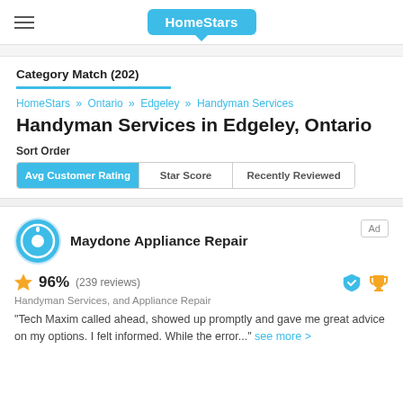HomeStars
Category Match (202)
HomeStars » Ontario » Edgeley » Handyman Services
Handyman Services in Edgeley, Ontario
Sort Order
Avg Customer Rating | Star Score | Recently Reviewed
Maydone Appliance Repair
96%  (239 reviews)
Handyman Services, and Appliance Repair
"Tech Maxim called ahead, showed up promptly and gave me great advice on my options. I felt informed. While the error..." see more >